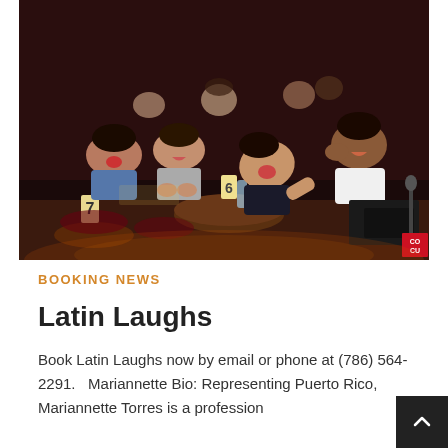[Figure (photo): Audience at a comedy show laughing and clapping, seated at tables in a dark venue. Several people visible, including women in the foreground laughing loudly and a man in a white shirt smiling. Stage lighting visible. Small red logo in bottom right corner.]
BOOKING NEWS
Latin Laughs
Book Latin Laughs now by email or phone at (786) 564-2291.   Mariannette Bio: Representing Puerto Rico, Mariannette Torres is a profession